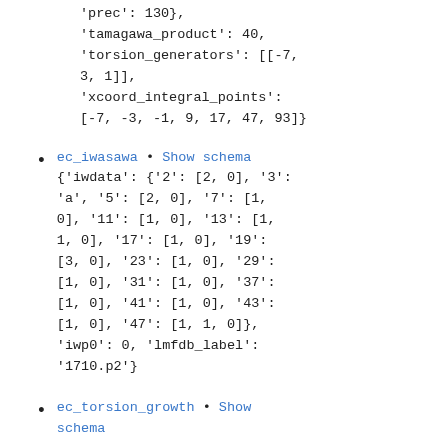'prec': 130},
'tamagawa_product': 40,
'torsion_generators': [[-7, 3, 1]],
'xcoord_integral_points': [-7, -3, -1, 9, 17, 47, 93]}
ec_iwasawa • Show schema {'iwdata': {'2': [2, 0], '3': 'a', '5': [2, 0], '7': [1, 0], '11': [1, 0], '13': [1, 1, 0], '17': [1, 0], '19': [3, 0], '23': [1, 0], '29': [1, 0], '31': [1, 0], '37': [1, 0], '41': [1, 0], '43': [1, 0], '47': [1, 1, 0]}, 'iwp0': 0, 'lmfdb_label': '1710.p2'}
ec_torsion_growth • Show schema